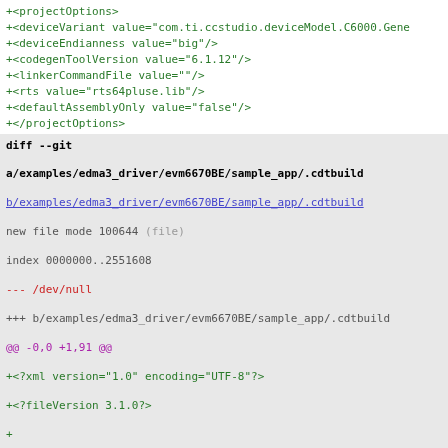+<projectOptions>
+<deviceVariant value="com.ti.ccstudio.deviceModel.C6000.Gene
+<deviceEndianness value="big"/>
+<codegenToolVersion value="6.1.12"/>
+<linkerCommandFile value=""/>
+<rts value="rts64pluse.lib"/>
+<defaultAssemblyOnly value="false"/>
+</projectOptions>
diff --git
a/examples/edma3_driver/evm6670BE/sample_app/.cdtbuild
b/examples/edma3_driver/evm6670BE/sample_app/.cdtbuild
new file mode 100644 (file)
index 0000000..2551608
--- /dev/null
+++ b/examples/edma3_driver/evm6670BE/sample_app/.cdtbuild
@@ -0,0 +1,91 @@
+<?xml version="1.0" encoding="UTF-8"?>
+<?fileVersion 3.1.0?>
+
+<ManagedProjectBuildInfo>
+<project id="edma3_drv_bios6_c6670be_st_sample.com.ti.ccstud
+<configuration artifactExtension="out" artifactName="edma3_d
+<toolChain id="com.ti.ccstudio.buildDefinitions.C6000_6.1.ex
+<option id="com.ti.ccstudio.buildDefinitions.core.OPT_CODEGE
+<option id="com.ti.ccstudio.buildDefinitions.core.OPT_TAGS.1
+<listOptionValue builtIn="false" value="DEVICE_CONFIGURATION
+<listOptionValue builtIn="false" value="DEVICE_ENDIANNESS=bi
+<listOptionValue builtIn="false" value="IS_ELF=false"/>
+<listOptionValue builtIn="false" value="LINKER_COMMAND_FILE=
+<listOptionValue builtIn="false" value="RUNTIME_SUPPORT_LIBR
+<listOptionValue builtIn="false" value="IS_ASSEMBLY_ONLY=fa